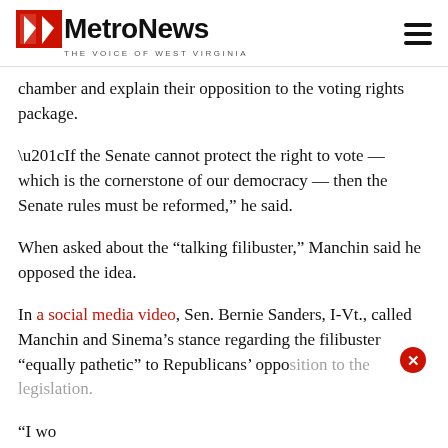MetroNews — THE VOICE OF WEST VIRGINIA
chamber and explain their opposition to the voting rights package.
“If the Senate cannot protect the right to vote — which is the cornerstone of our democracy — then the Senate rules must be reformed,” he said.
When asked about the “talking filibuster,” Manchin said he opposed the idea.
In a social media video, Sen. Bernie Sanders, I-Vt., called Manchin and Sinema’s stance regarding the filibuster “equally pathetic” to Republicans’ oppo…